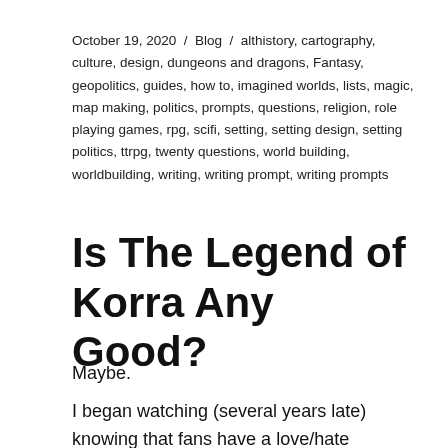October 19, 2020 / Blog / althistory, cartography, culture, design, dungeons and dragons, Fantasy, geopolitics, guides, how to, imagined worlds, lists, magic, map making, politics, prompts, questions, religion, role playing games, rpg, scifi, setting, setting design, setting politics, ttrpg, twenty questions, world building, worldbuilding, writing, writing prompt, writing prompts
Is The Legend of Korra Any Good?
Maybe.
I began watching (several years late) knowing that fans have a love/hate relationship with the